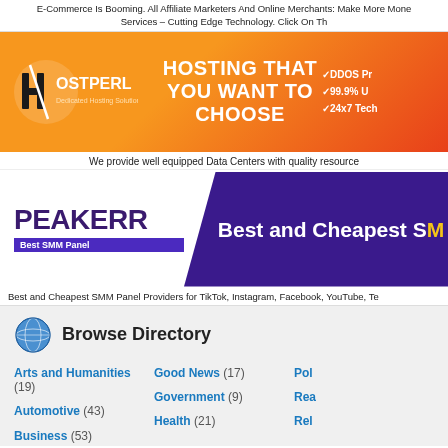E-Commerce Is Booming. All Affiliate Marketers And Online Merchants: Make More Money With These Services – Cutting Edge Technology. Click On The
[Figure (other): HostPerl Dedicated Hosting Solutions banner with orange/red gradient background, logo on left, 'HOSTING THAT YOU WANT TO CHOOSE' center text, and DDOS Protection, 99.9% uptime, 24x7 Tech support checkmarks on right]
We provide well equipped Data Centers with quality resource
[Figure (other): Peakerr Best SMM Panel banner with white left section showing PEAKERR logo and 'Best SMM Panel' tag, and purple right section showing 'Best and Cheapest SM' text]
Best and Cheapest SMM Panel Providers for TikTok, Instagram, Facebook, YouTube, Te
Browse Directory
Arts and Humanities (19)
Good News (17)
Automotive (43)
Government (9)
Business (53)
Health (21)